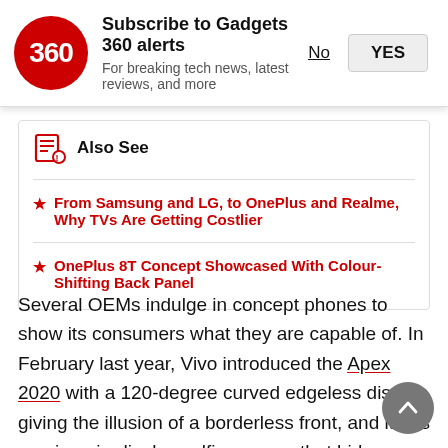Subscribe to Gadgets 360 alerts
For breaking tech news, latest reviews, and more
Also See
From Samsung and LG, to OnePlus and Realme, Why TVs Are Getting Costlier
OnePlus 8T Concept Showcased With Colour-Shifting Back Panel
Several OEMs indulge in concept phones to show its consumers what they are capable of. In February last year, Vivo introduced the Apex 2020 with a 120-degree curved edgeless display, giving the illusion of a borderless front, and it has a unique in-display selfie camera that hides behind the screen. Even OnePlus